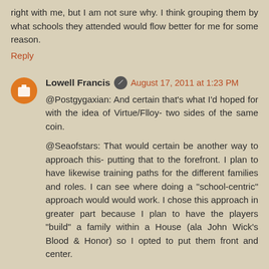right with me, but I am not sure why. I think grouping them by what schools they attended would flow better for me for some reason.
Reply
Lowell Francis
August 17, 2011 at 1:23 PM
@Postgygaxian: And certain that's what I'd hoped for with the idea of Virtue/Flloy- two sides of the same coin.
@Seaofstars: That would certain be another way to approach this- putting that to the forefront. I plan to have likewise training paths for the different families and roles. I can see where doing a "school-centric" approach would would work. I chose this approach in greater part because I plan to have the players "build" a family within a House (ala John Wick's Blood & Honor) so I opted to put them front and center.
Reply